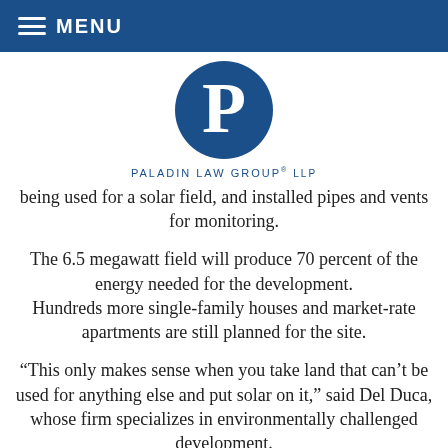MENU
[Figure (logo): Paladin Law Group LLP logo — large blue circle with white P, and text 'Paladin Law Group® LLP' below in blue]
being used for a solar field, and installed pipes and vents for monitoring.
The 6.5 megawatt field will produce 70 percent of the energy needed for the development. Hundreds more single-family houses and market-rate apartments are still planned for the site.
“This only makes sense when you take land that can’t be used for anything else and put solar on it,” said Del Duca, whose firm specializes in environmentally challenged development.
“The money it generates can be used to close and cap